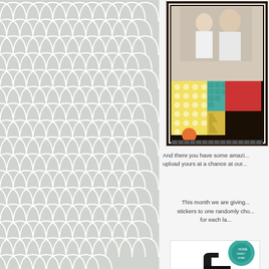[Figure (illustration): Left panel with light grey background and white scallop/fish-scale repeating pattern covering the full left column]
[Figure (photo): Scrapbook layout photo showing two children with decorative patterned paper, teal and yellow chevron banner letters, polka dot background, and a filmstrip border]
And there you have some amazi... upload yours at a chance at our...
This month we are giving... stickers to one randomly cho... for each la...
[Figure (illustration): White box containing teal and black decorative sticker/embellishment shapes at bottom right]